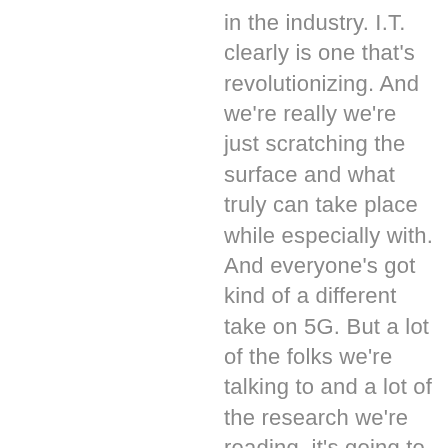in the industry. I.T. clearly is one that's revolutionizing. And we're really we're just scratching the surface and what truly can take place while especially with. And everyone's got kind of a different take on 5G. But a lot of the folks we're talking to and a lot of the research we're reading, it's going to revolutionize and really enable these technologies like outie to do some really, really neat game changing things. What other emerging technologies have you been tracking, especially from the manufacturing supply chain space?